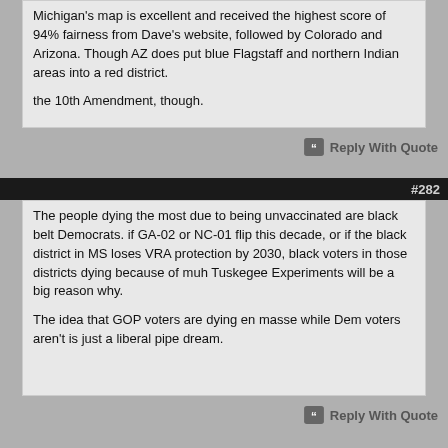Michigan's map is excellent and received the highest score of 94% fairness from Dave's website, followed by Colorado and Arizona. Though AZ does put blue Flagstaff and northern Indian areas into a red district.

the 10th Amendment, though.
#282
The people dying the most due to being unvaccinated are black belt Democrats. if GA-02 or NC-01 flip this decade, or if the black district in MS loses VRA protection by 2030, black voters in those districts dying because of muh Tuskegee Experiments will be a big reason why.

The idea that GOP voters are dying en masse while Dem voters aren't is just a liberal pipe dream.